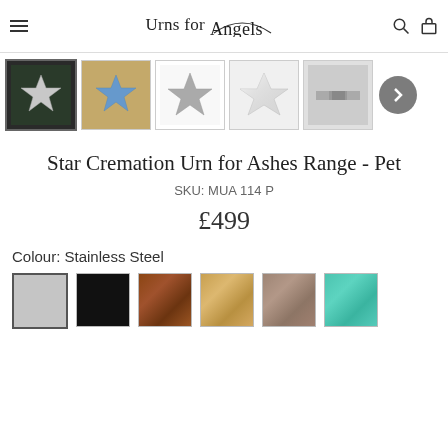Urns for Angels
[Figure (photo): Product thumbnail images of star-shaped cremation urns in various materials and colors, with a navigation arrow button]
Star Cremation Urn for Ashes Range - Pet
SKU: MUA 114 P
£499
Colour: Stainless Steel
[Figure (illustration): Six color swatches: Stainless Steel (light grey, selected), Black, Brown/wood, Gold/tan, Taupe/brown, Turquoise/teal]